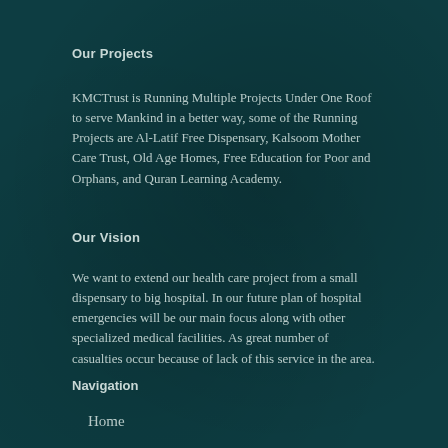Our Projects
KMCTrust is Running Multiple Projects Under One Roof to serve Mankind in a better way, some of the Running Projects are Al-Latif Free Dispensary, Kalsoom Mother Care Trust, Old Age Homes, Free Education for Poor and Orphans, and Quran Learning Academy.
Our Vision
We want to extend our health care project from a small dispensary to big hospital. In our future plan of hospital emergencies will be our main focus along with other specialized medical facilities. As great number of casualties occur because of lack of this service in the area.
Navigation
Home